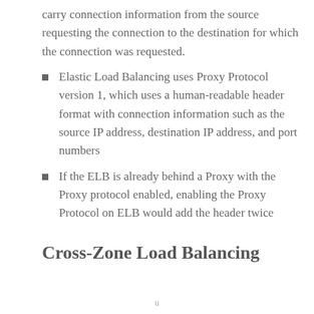carry connection information from the source requesting the connection to the destination for which the connection was requested.
Elastic Load Balancing uses Proxy Protocol version 1, which uses a human-readable header format with connection information such as the source IP address, destination IP address, and port numbers
If the ELB is already behind a Proxy with the Proxy protocol enabled, enabling the Proxy Protocol on ELB would add the header twice
Cross-Zone Load Balancing